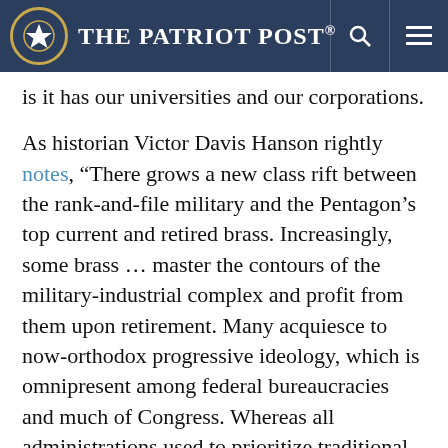The Patriot Post
is it has our universities and our corporations.
As historian Victor Davis Hanson rightly notes, “There grows a new class rift between the rank-and-file military and the Pentagon’s top current and retired brass. Increasingly, some brass … master the contours of the military-industrial complex and profit from them upon retirement. Many acquiesce to now-orthodox progressive ideology, which is omnipresent among federal bureaucracies and much of Congress. Whereas all administrations used to prioritize traditional military preparedness, leftist administrations now see the military as a tool for accelerating their progressive domestic changes.”
Hanson continues, “Many of our top brass are far more politicized than in the past, and can grow more